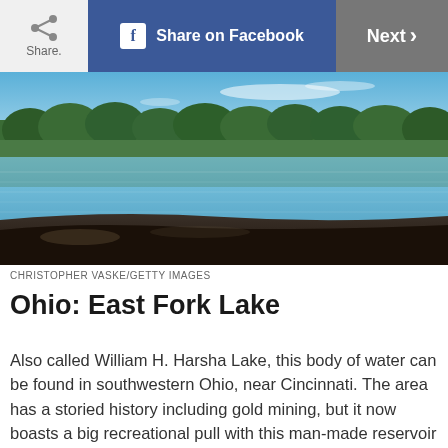Share | Share on Facebook | Next >
[Figure (photo): Landscape photo of East Fork Lake (William H. Harsha Lake) in southwestern Ohio, showing calm blue water reflecting green trees along the far shore, with a dark sandy/rocky shoreline in the foreground and blue sky above.]
CHRISTOPHER VASKE/GETTY IMAGES
Ohio: East Fork Lake
Also called William H. Harsha Lake, this body of water can be found in southwestern Ohio, near Cincinnati. The area has a storied history including gold mining, but it now boasts a big recreational pull with this man-made reservoir that dates back